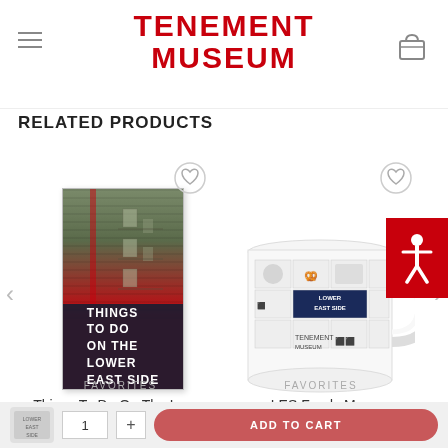TENEMENT MUSEUM
RELATED PRODUCTS
[Figure (photo): Product image of 'Things To Do On The Lower East Side' guide book with red cover and building photo]
FAVORITES
Things To Do On The Lower East Side Guide
$1.84
[Figure (photo): Product image of LES Foods Mug with Lower East Side food icons on white ceramic mug]
FAVORITES
LES Foods Mug
$16.99
ADD TO CART